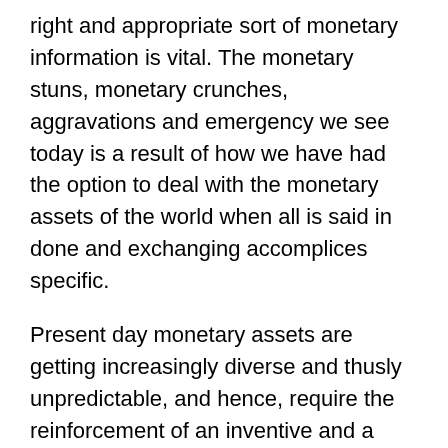right and appropriate sort of monetary information is vital. The monetary stuns, monetary crunches, aggravations and emergency we see today is a result of how we have had the option to deal with the monetary assets of the world when all is said in done and exchanging accomplices specific.
Present day monetary assets are getting increasingly diverse and thusly unpredictable, and hence, require the reinforcement of an inventive and a forward-looking monetary technique considering past monetary information as well as all accessible monetary information. Monetary information and financial advancement both influence each other which implies that monetary information influences monetary turn of events